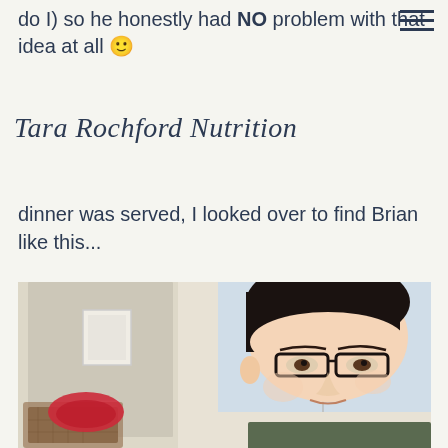do I) so he honestly had NO problem with that idea at all 🙂
Tara Rochford Nutrition
dinner was served, I looked over to find Brian like this...
[Figure (photo): A man with dark hair and glasses leaning forward toward the camera with a curious or hungry expression. Background shows a room with a door, light switch, window, and a colorful chair with a red cushion.]